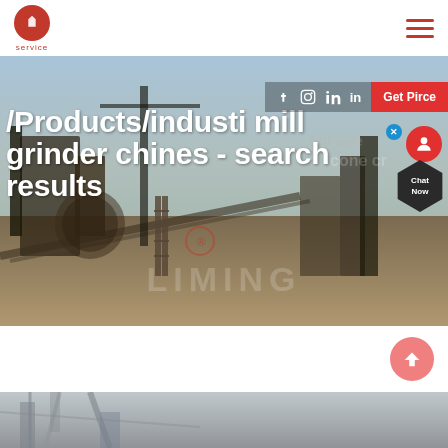service [logo] [hamburger menu]
[Figure (screenshot): Industrial mining/crushing plant site with machinery, conveyor belts, and equipment in an outdoor desert-like setting. Background hero image of a cone crusher facility.]
/Products/industi mill grinder chines - search results
Get Pirce
Chat Now
[Figure (photo): Partial view of industrial machinery interior, gray metallic structures visible at the bottom of the page.]